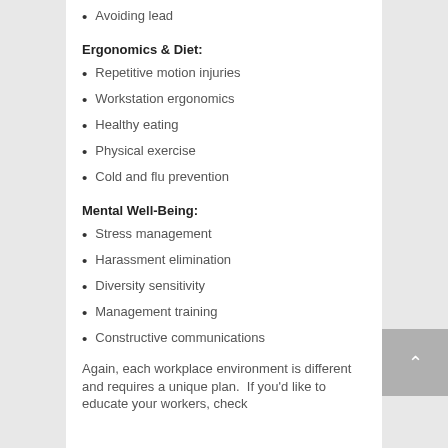Avoiding lead
Ergonomics & Diet:
Repetitive motion injuries
Workstation ergonomics
Healthy eating
Physical exercise
Cold and flu prevention
Mental Well-Being:
Stress management
Harassment elimination
Diversity sensitivity
Management training
Constructive communications
Again, each workplace environment is different and requires a unique plan.  If you'd like to educate your workers, check